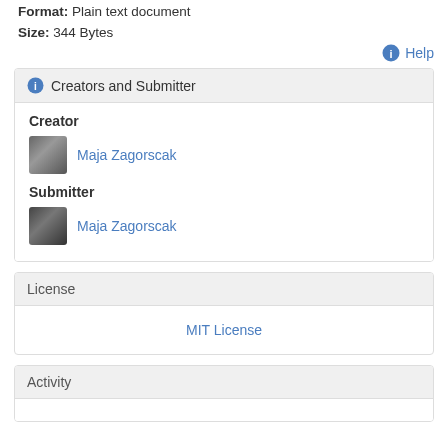Format: Plain text document
Size: 344 Bytes
Help
Creators and Submitter
Creator
Maja Zagorscak
Submitter
Maja Zagorscak
License
MIT License
Activity